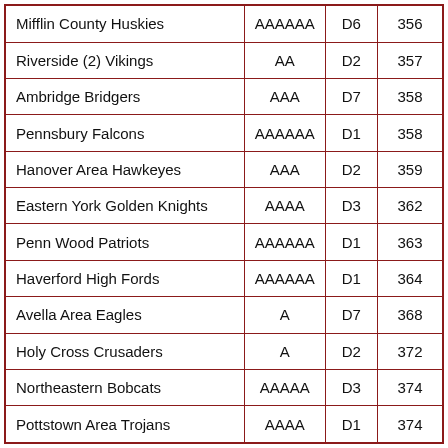| Mifflin County Huskies | AAAAAA | D6 | 356 |
| Riverside (2) Vikings | AA | D2 | 357 |
| Ambridge Bridgers | AAA | D7 | 358 |
| Pennsbury Falcons | AAAAAA | D1 | 358 |
| Hanover Area Hawkeyes | AAA | D2 | 359 |
| Eastern York Golden Knights | AAAA | D3 | 362 |
| Penn Wood Patriots | AAAAAA | D1 | 363 |
| Haverford High Fords | AAAAAA | D1 | 364 |
| Avella Area Eagles | A | D7 | 368 |
| Holy Cross Crusaders | A | D2 | 372 |
| Northeastern Bobcats | AAAAA | D3 | 374 |
| Pottstown Area Trojans | AAAA | D1 | 374 |